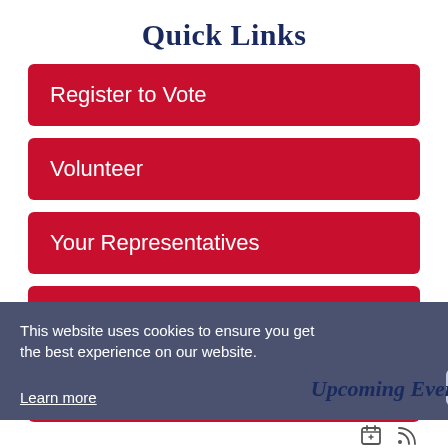Quick Links
Register to Vote
Volunteer
Your Representatives
Donate
Covid-19 Info
This website uses cookies to ensure you get the best experience on our website.
Learn more
Got it!
Upcoming Events